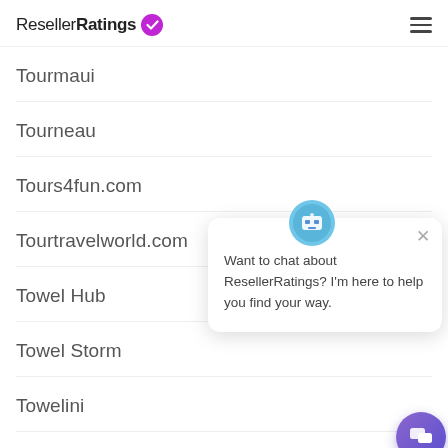ResellerRatings
Tourmaui
Tourneau
Tours4fun.com
Tourtravelworld.com
Towel Hub
Towel Storm
Towelini
[Figure (screenshot): Chat popup widget: avatar icon of a robot/assistant, close X button, text 'Want to chat about ResellerRatings? I’m here to help you find your way.' and a purple chat bubble button in bottom right.]